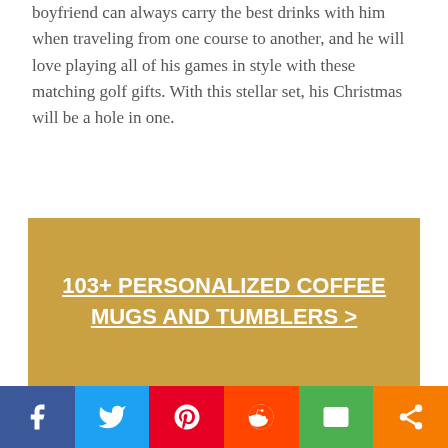boyfriend can always carry the best drinks with him when traveling from one course to another, and he will love playing all of his games in style with these matching golf gifts. With this stellar set, his Christmas will be a hole in one.
[Figure (other): Golden/tan colored banner button with white bold underlined text reading '103+ PERSONALIZED COFFEE MUGS AND TUMBLERS >']
Light Up His World with a Personalized Christmas Gift for Boyfriend
[Figure (other): Social sharing bar with six buttons: Facebook (blue), Twitter (light blue), Pinterest (red), Reddit (orange-red), Email (green), Share (orange)]